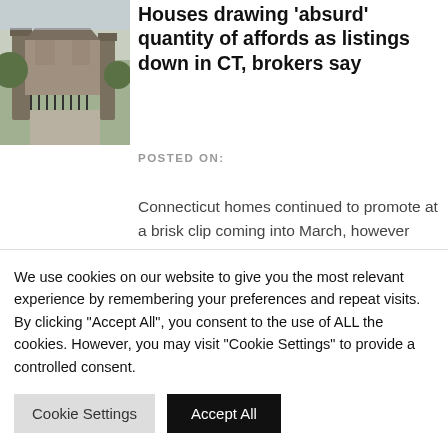[Figure (photo): Exterior view of a large stone house or estate with iron gates and a driveway, trees visible in background]
Houses drawing 'absurd' quantity of affords as listings down in CT, brokers say
POSTED ON:
Connecticut homes continued to promote at a brisk clip coming into March, however transactions are down considerably with fewer properties
PREVIOUS P
NEXT POS
We use cookies on our website to give you the most relevant experience by remembering your preferences and repeat visits. By clicking "Accept All", you consent to the use of ALL the cookies. However, you may visit "Cookie Settings" to provide a controlled consent.
Cookie Settings
Accept All